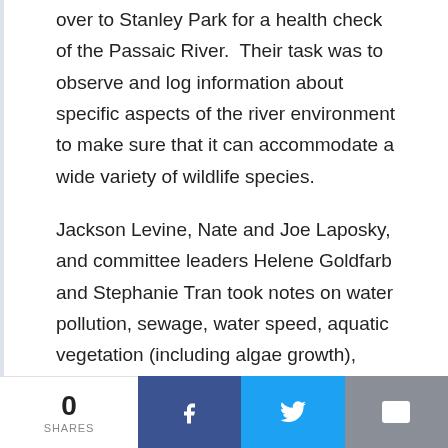over to Stanley Park for a health check of the Passaic River.  Their task was to observe and log information about specific aspects of the river environment to make sure that it can accommodate a wide variety of wildlife species.
Jackson Levine, Nate and Joe Laposky, and committee leaders Helene Goldfarb and Stephanie Tran took notes on water pollution, sewage, water speed, aquatic vegetation (including algae growth), man-made structures in or around the banks of the river, and assessed the erosion of both the left and right banks.
The group logged their observations and
0 SHARES